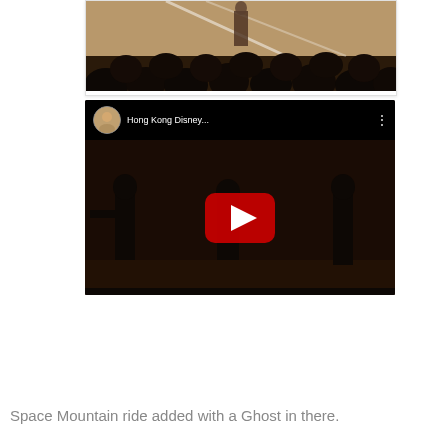[Figure (photo): A photo of an audience viewed from behind, with silhouetted heads in the foreground and a brightly lit stage or screen in the background showing a person standing.]
[Figure (screenshot): A YouTube video thumbnail showing a dark stage scene with silhouetted figures, labeled 'Hong Kong Disney...' with a circular avatar thumbnail and YouTube play button overlay.]
Space Mountain ride added with a Ghost in there.